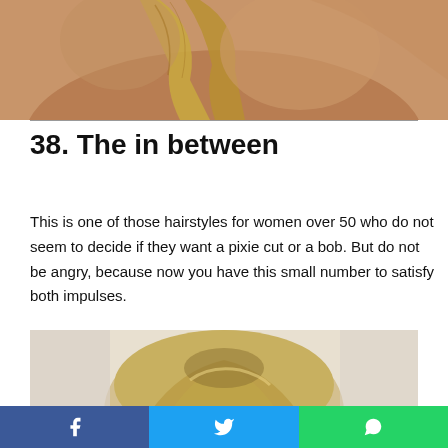[Figure (photo): Close-up of a woman wearing a gold/sequined sleeveless top, showing her shoulders and neckline from the torso up.]
38. The in between
This is one of those hairstyles for women over 50 who do not seem to decide if they want a pixie cut or a bob. But do not be angry, because now you have this small number to satisfy both impulses.
[Figure (photo): Back view of a woman with short blonde hair, showing the top/back of her head.]
[Figure (other): Social media share bar with Facebook, Twitter, and WhatsApp buttons.]